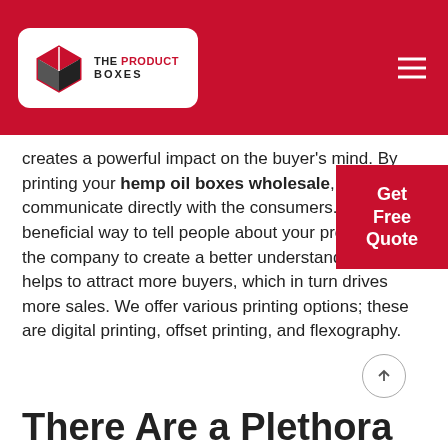[Figure (logo): The Product Boxes logo with red box icon and company name]
creates a powerful impact on the buyer's mind. By printing your hemp oil boxes wholesale, you can communicate directly with the consumers. It is a beneficial way to tell people about your product and the company to create a better understanding. It also helps to attract more buyers, which in turn drives more sales. We offer various printing options; these are digital printing, offset printing, and flexography.
There Are a Plethora Of Customizations That Provide